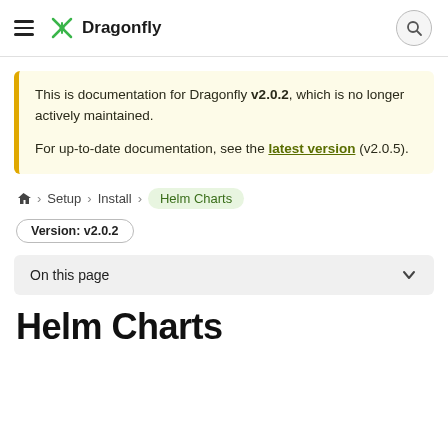Dragonfly
This is documentation for Dragonfly v2.0.2, which is no longer actively maintained.

For up-to-date documentation, see the latest version (v2.0.5).
Home > Setup > Install > Helm Charts
Version: v2.0.2
On this page
Helm Charts